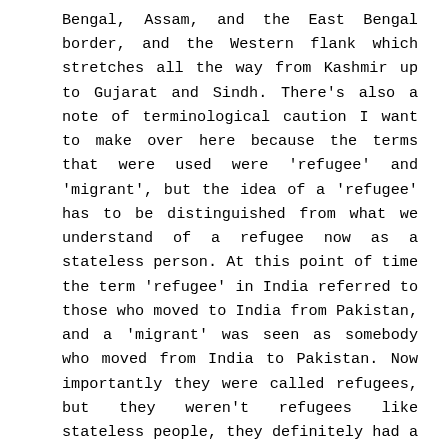Bengal, Assam, and the East Bengal border, and the Western flank which stretches all the way from Kashmir up to Gujarat and Sindh. There's also a note of terminological caution I want to make over here because the terms that were used were 'refugee' and 'migrant', but the idea of a 'refugee' has to be distinguished from what we understand of a refugee now as a stateless person. At this point of time the term 'refugee' in India referred to those who moved to India from Pakistan, and a 'migrant' was seen as somebody who moved from India to Pakistan. Now importantly they were called refugees, but they weren't refugees like stateless people, they definitely had a state allegiance and that allegiance was acknowledged by the state they were moving to, it was just that their domicile and the state that they wanted to be part of